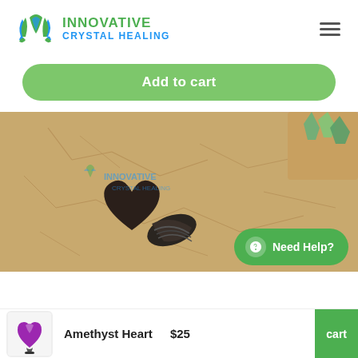[Figure (logo): Innovative Crystal Healing logo with blue/green leaf motif and brand name]
[Figure (photo): Product photo: dark crystal hearts on sandy cracked earth surface, with Innovative Crystal Healing watermark, and green crystal pieces in upper right]
Add to cart
Need Help?
Amethyst Heart
$25